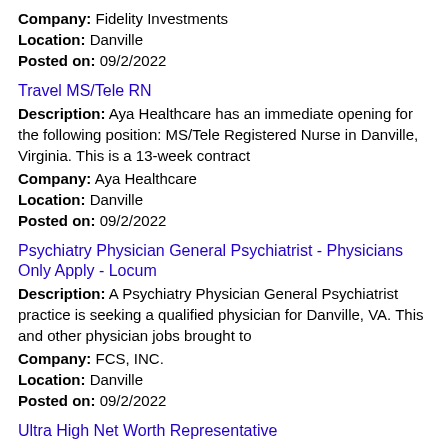Company: Fidelity Investments
Location: Danville
Posted on: 09/2/2022
Travel MS/Tele RN
Description: Aya Healthcare has an immediate opening for the following position: MS/Tele Registered Nurse in Danville, Virginia. This is a 13-week contract
Company: Aya Healthcare
Location: Danville
Posted on: 09/2/2022
Psychiatry Physician General Psychiatrist - Physicians Only Apply - Locum
Description: A Psychiatry Physician General Psychiatrist practice is seeking a qualified physician for Danville, VA. This and other physician jobs brought to
Company: FCS, INC.
Location: Danville
Posted on: 09/2/2022
Ultra High Net Worth Representative
Description: Job Description: High Net Worth Representative The - Purpose -of Your Role As a High Net Worth Representative, you will